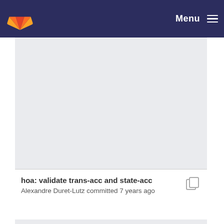Menu
[Figure (screenshot): Blank light gray content area of a GitLab repository page]
hoa: validate trans-acc and state-acc
Alexandre Duret-Lutz committed 7 years ago